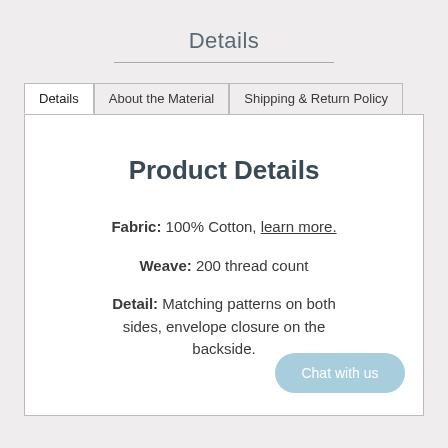Details
Product Details
Fabric: 100% Cotton, learn more.
Weave: 200 thread count
Detail: Matching patterns on both sides, envelope closure on the backside.